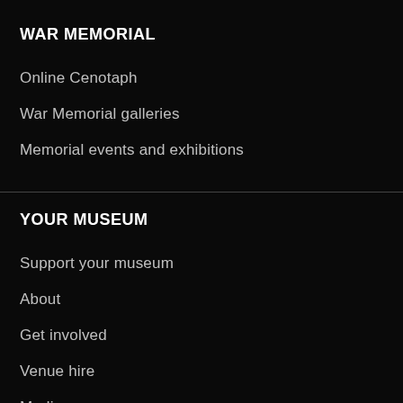WAR MEMORIAL
Online Cenotaph
War Memorial galleries
Memorial events and exhibitions
YOUR MUSEUM
Support your museum
About
Get involved
Venue hire
Media
Work at Auckland Museum